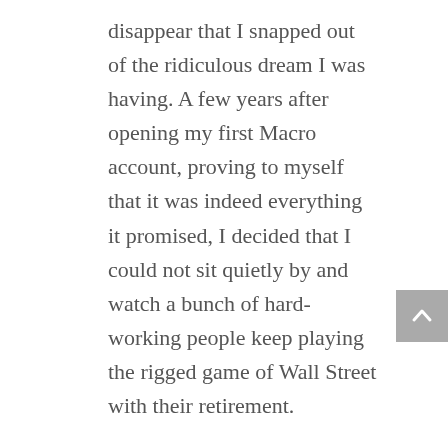disappear that I snapped out of the ridiculous dream I was having. A few years after opening my first Macro account, proving to myself that it was indeed everything it promised, I decided that I could not sit quietly by and watch a bunch of hard-working people keep playing the rigged game of Wall Street with their retirement.

So, I decided to share my story and share the stories of others. I have used my Macro policy to do amazing things in my life. It only gets better as I get closer to retirement. I look forward to meeting with